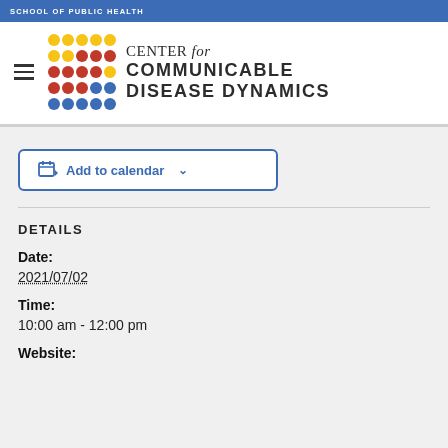SCHOOL OF PUBLIC HEALTH
[Figure (logo): Center for Communicable Disease Dynamics logo with colored dot grid (yellow, red, blue) and text]
Add to calendar
DETAILS
Date:
2021/07/02
Time:
10:00 am - 12:00 pm
Website: